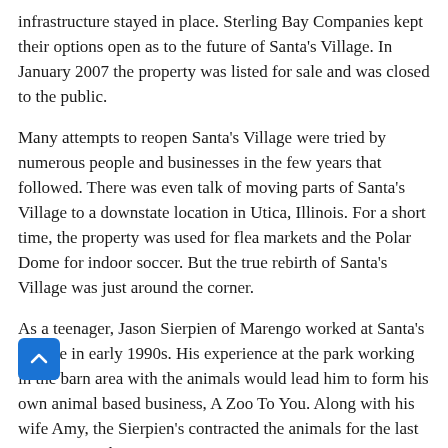infrastructure stayed in place. Sterling Bay Companies kept their options open as to the future of Santa's Village. In January 2007 the property was listed for sale and was closed to the public.
Many attempts to reopen Santa's Village were tried by numerous people and businesses in the few years that followed. There was even talk of moving parts of Santa's Village to a downstate location in Utica, Illinois. For a short time, the property was used for flea markets and the Polar Dome for indoor soccer. But the true rebirth of Santa's Village was just around the corner.
As a teenager, Jason Sierpien of Marengo worked at Santa's Village in early 1990s. His experience at the park working in the barn area with the animals would lead him to form his own animal based business, A Zoo To You. Along with his wife Amy, the Sierpien's contracted the animals for the last two seasons the park would be open. In 2010, needing more space, they contracted with property owner to lease space at Santa's Village.